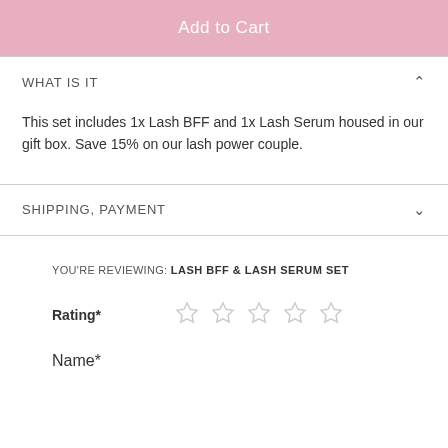Add to Cart
WHAT IS IT
This set includes 1x Lash BFF and 1x Lash Serum housed in our gift box. Save 15% on our lash power couple.
SHIPPING, PAYMENT
YOU'RE REVIEWING: LASH BFF & LASH SERUM SET
Rating*
Name*